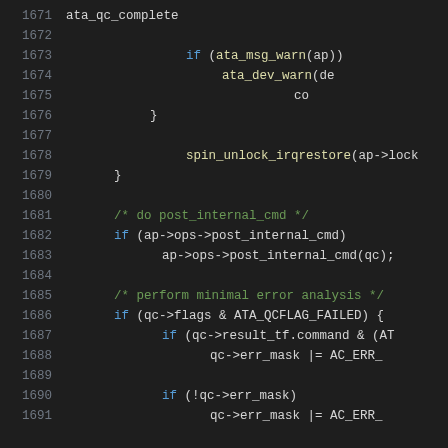[Figure (screenshot): Source code listing showing C code lines 1671-1691 with syntax highlighting on dark background. Code includes ata_qc_complete function call, conditional checks, spin_unlock_irqrestore, post_internal_cmd handling, and error analysis blocks.]